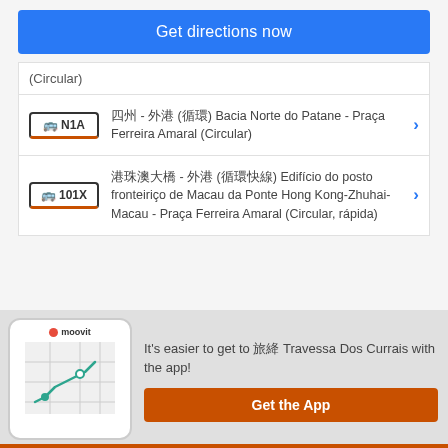Get directions now
(Circular)
N1A — 澳巴 - 外港碼頭 (循環) Bacia Norte do Patane - Praça Ferreira Amaral (Circular)
101X — 澳巴珠澳口岸 - 外港碼頭 (循環快線) Edifício do posto fronteiriço de Macau da Ponte Hong Kong-Zhuhai-Macau - Praça Ferreira Amaral (Circular, rápida)
It's easier to get to 旅 Travessa Dos Currais with the app!
Get the App